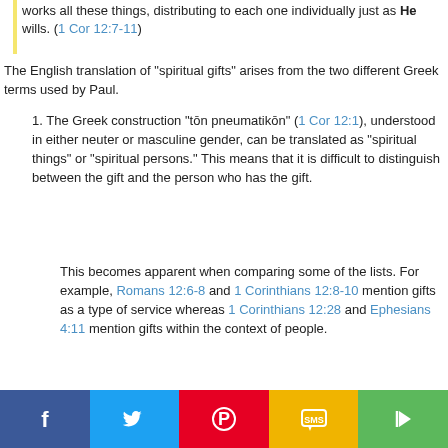works all these things, distributing to each one individually just as He wills. (1 Cor 12:7-11)
The English translation of "spiritual gifts" arises from the two different Greek terms used by Paul.
1. The Greek construction "tōn pneumatikōn" (1 Cor 12:1), understood in either neuter or masculine gender, can be translated as "spiritual things" or "spiritual persons." This means that it is difficult to distinguish between the gift and the person who has the gift.
This becomes apparent when comparing some of the lists. For example, Romans 12:6-8 and 1 Corinthians 12:8-10 mention gifts as a type of service whereas 1 Corinthians 12:28 and Ephesians 4:11 mention gifts within the context of people.
[Figure (other): Social media share bar with Facebook, Twitter, Pinterest, SMS, and share buttons]